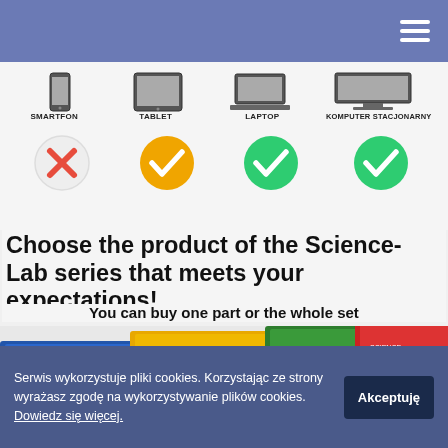[Figure (screenshot): Navigation bar with hamburger menu icon on blue/purple background]
[Figure (infographic): Four device categories (SMARTFON, TABLET, LAPTOP, KOMPUTER STACJONARNY) with device images at top and compatibility circles below: red X for SMARTFON, yellow checkmark for TABLET, green checkmark for LAPTOP, green checkmark for KOMPUTER STACJONARNY]
Choose the product of the Science-Lab series that meets your expectations!
You can buy one part or the whole set
[Figure (photo): Science-Lab product boxes in blue, yellow, green and red colors arranged overlapping]
Serwis wykorzystuje pliki cookies. Korzystając ze strony wyrażasz zgodę na wykorzystywanie plików cookies. Dowiedz się więcej.
Akceptuję